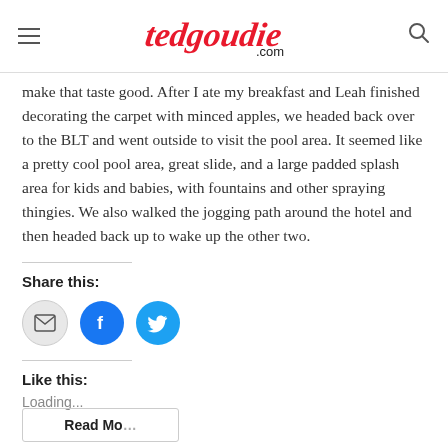tedgoudie.com
make that taste good. After I ate my breakfast and Leah finished decorating the carpet with minced apples, we headed back over to the BLT and went outside to visit the pool area. It seemed like a pretty cool pool area, great slide, and a large padded splash area for kids and babies, with fountains and other spraying thingies. We also walked the jogging path around the hotel and then headed back up to wake up the other two.
Share this:
[Figure (other): Social sharing buttons: email, Facebook, Twitter]
Like this:
Loading...